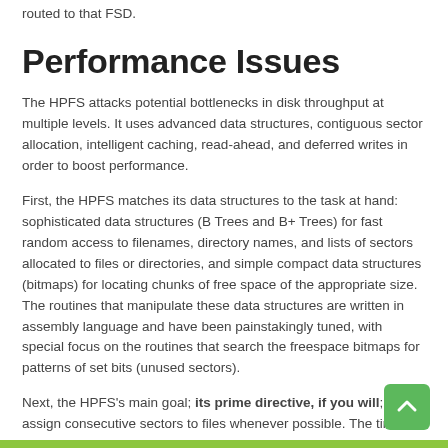routed to that FSD.
Performance Issues
The HPFS attacks potential bottlenecks in disk throughput at multiple levels. It uses advanced data structures, contiguous sector allocation, intelligent caching, read-ahead, and deferred writes in order to boost performance.
First, the HPFS matches its data structures to the task at hand: sophisticated data structures (B Trees and B+ Trees) for fast random access to filenames, directory names, and lists of sectors allocated to files or directories, and simple compact data structures (bitmaps) for locating chunks of free space of the appropriate size. The routines that manipulate these data structures are written in assembly language and have been painstakingly tuned, with special focus on the routines that search the freespace bitmaps for patterns of set bits (unused sectors).
Next, the HPFS's main goal; its prime directive, if you will; is to assign consecutive sectors to files whenever possible. The time